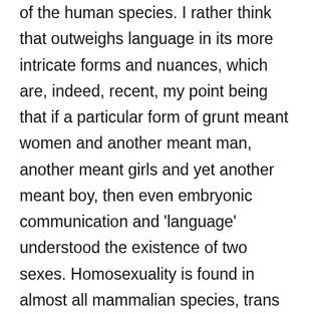of the human species. I rather think that outweighs language in its more intricate forms and nuances, which are, indeed, recent, my point being that if a particular form of grunt meant women and another meant man, another meant girls and yet another meant boy, then even embryonic communication and 'language' understood the existence of two sexes. Homosexuality is found in almost all mammalian species, trans not so much. I'm sure that early man and woman also had a grunt to